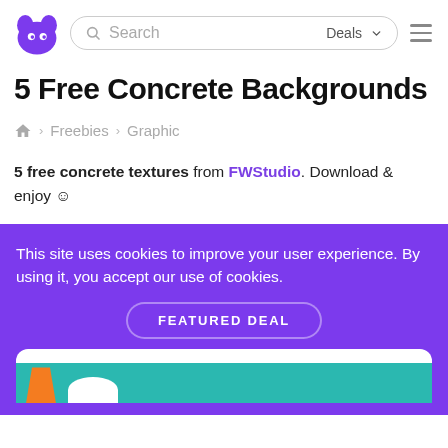Search | Deals | [hamburger menu]
5 Free Concrete Backgrounds
Freebies > Graphic
5 free concrete textures from FWStudio. Download & enjoy ☺
This site uses cookies to improve your user experience. By using it, you accept our use of cookies.
FEATURED DEAL